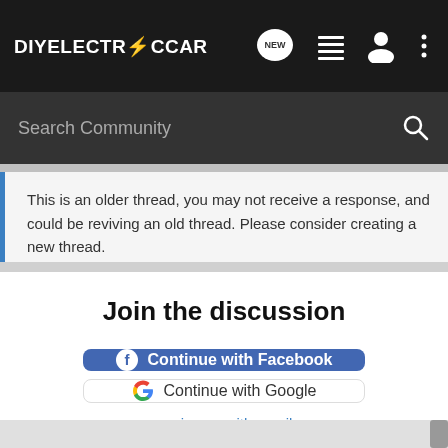DIYELECTRICCAR
Search Community
This is an older thread, you may not receive a response, and could be reviving an old thread. Please consider creating a new thread.
Join the discussion
Continue with Facebook
Continue with Google
or sign up with email